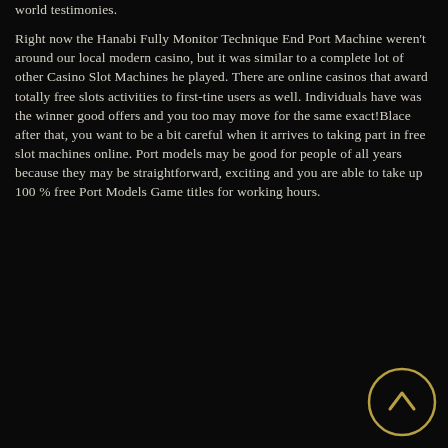world testimonies.

Right now the Hanabi Fully Monitor Technique End Port Machine weren't around our local modern casino, but it was similar to a complete lot of other Casino Slot Machines he played. There are online casinos that award totally free slots activities to first-tine users as well. Individuals have was the winner good offers and you too may move for the same exact!Blace after that, you want to be a bit careful when it arrives to taking part in free slot machines online. Port models may be good for people of all years because they may be straightforward, exciting and you are able to take up 100 % free Port Models Game titles for working hours.
[Figure (other): A circular scroll-to-top button with a golden/dark yellow border and an upward-pointing chevron arrow in the center, positioned at the bottom right of the page.]